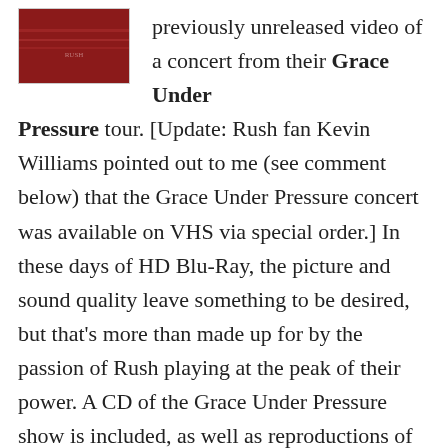[Figure (photo): Album cover with dark red background and text]
previously unreleased video of a concert from their Grace Under Pressure tour. [Update: Rush fan Kevin Williams pointed out to me (see comment below) that the Grace Under Pressure concert was available on VHS via special order.] In these days of HD Blu-Ray, the picture and sound quality leave something to be desired, but that's more than made up for by the passion of Rush playing at the peak of their power. A CD of the Grace Under Pressure show is included, as well as reproductions of the three tour programs.
[Figure (photo): Rush In Rio album cover with dragon illustration and RUSH text]
Rush In Rio (2003) is a video of a concert in Rio de Janeiro. The audience of 40,000 people almost